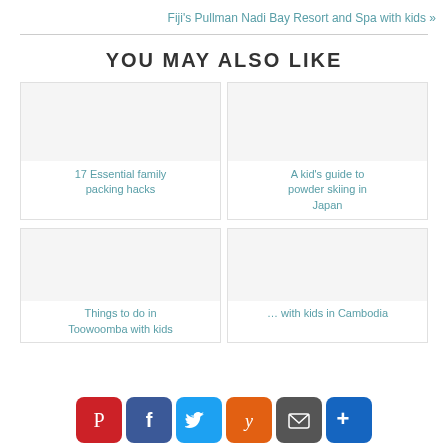Fiji's Pullman Nadi Bay Resort and Spa with kids »
YOU MAY ALSO LIKE
[Figure (illustration): Blank image placeholder for article card]
17 Essential family packing hacks
[Figure (illustration): Blank image placeholder for article card]
A kid's guide to powder skiing in Japan
[Figure (illustration): Blank image placeholder for article card]
Things to do in Toowoomba with kids
[Figure (illustration): Blank image placeholder for article card]
… with kids in Cambodia
[Figure (infographic): Social share bar with Pinterest, Facebook, Twitter, Yummly, Email, and More buttons]